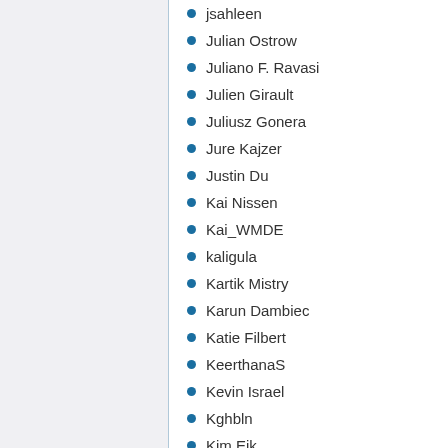jsahleen
Julian Ostrow
Juliano F. Ravasi
Julien Girault
Juliusz Gonera
Jure Kajzer
Justin Du
Kai Nissen
Kai_WMDE
kaligula
Kartik Mistry
Karun Dambiec
Katie Filbert
KeerthanaS
Kevin Israel
Kghbln
Kim Eik
Kim Hyun-Joon
kipod